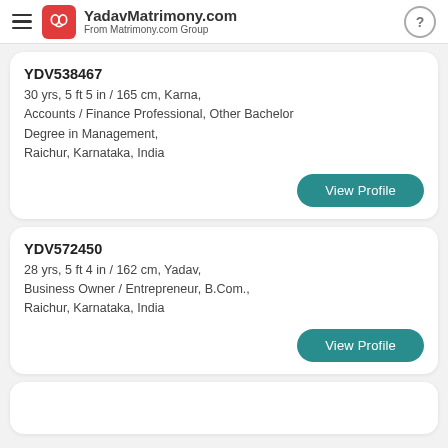YadavMatrimony.com From Matrimony.com Group
YDV538467
30 yrs, 5 ft 5 in / 165 cm, Karna, Accounts / Finance Professional, Other Bachelor Degree in Management, Raichur, Karnataka, India
View Profile
YDV572450
28 yrs, 5 ft 4 in / 162 cm, Yadav, Business Owner / Entrepreneur, B.Com., Raichur, Karnataka, India
View Profile